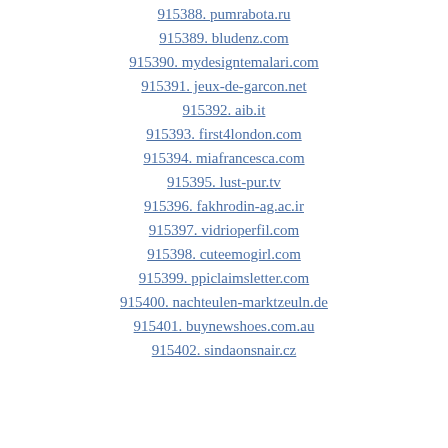915388. pumrabota.ru
915389. bludenz.com
915390. mydesigntemalari.com
915391. jeux-de-garcon.net
915392. aib.it
915393. first4london.com
915394. miafrancesca.com
915395. lust-pur.tv
915396. fakhrodin-ag.ac.ir
915397. vidrioperfil.com
915398. cuteemogirl.com
915399. ppiclaimsletter.com
915400. nachteulen-marktzeuln.de
915401. buynewshoes.com.au
915402. sindaonsnair.cz